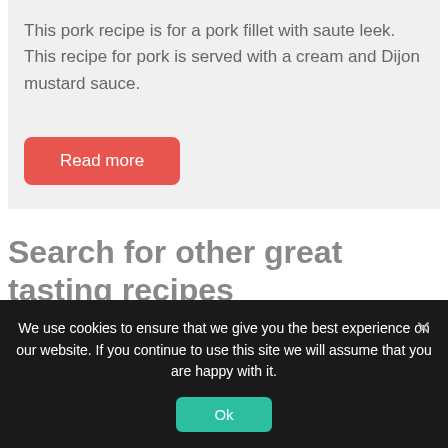This pork recipe is for a pork fillet with saute leek. This recipe for pork is served with a cream and Dijon mustard sauce.
Read more
Search for other great tasting recipes
We use cookies to ensure that we give you the best experience on our website. If you continue to use this site we will assume that you are happy with it.
Ok